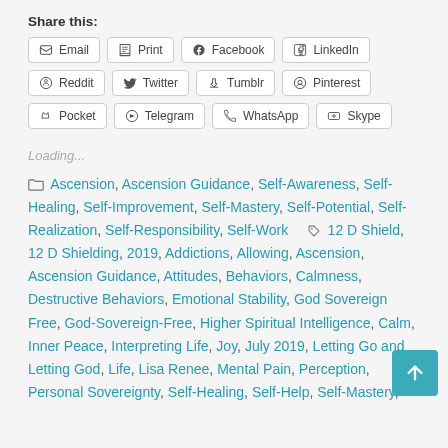Share this:
Email, Print, Facebook, LinkedIn, Reddit, Twitter, Tumblr, Pinterest, Pocket, Telegram, WhatsApp, Skype
Loading...
Ascension, Ascension Guidance, Self-Awareness, Self-Healing, Self-Improvement, Self-Mastery, Self-Potential, Self-Realization, Self-Responsibility, Self-Work   12 D Shield, 12 D Shielding, 2019, Addictions, Allowing, Ascension, Ascension Guidance, Attitudes, Behaviors, Calmness, Destructive Behaviors, Emotional Stability, God Sovereign Free, God-Sovereign-Free, Higher Spiritual Intelligence, Calm, Inner Peace, Interpreting Life, Joy, July 2019, Letting Go and Letting God, Life, Lisa Renee, Mental Pain, Perception, Personal Sovereignty, Self-Healing, Self-Help, Self-Mastery,